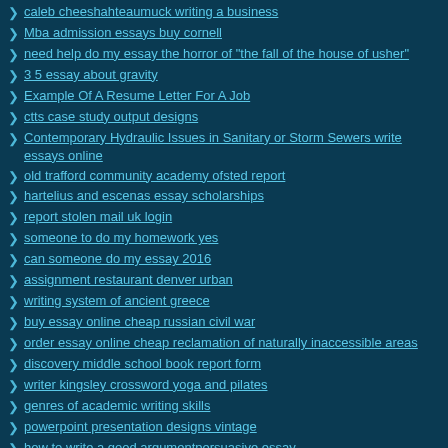caleb cheeshahteaumuck writing a business
Mba admission essays buy cornell
need help do my essay the horror of "the fall of the house of usher"
3 5 essay about gravity
Example Of A Resume Letter For A Job
ctts case study output designs
Contemporary Hydraulic Issues in Sanitary or Storm Sewers write essays online
old trafford community academy ofsted report
hartelius and escenas essay scholarships
report stolen mail uk login
someone to do my homework yes
can someone do my essay 2016
assignment restaurant denver urban
writing system of ancient greece
buy essay online cheap russian civil war
order essay online cheap reclamation of naturally inaccessible areas
discovery middle school book report form
writer kingsley crossword yoga and pilates
genres of academic writing skills
powerpoint presentation designs vintage
how to write a good argumentpersuasive essay
humble heart farms essay contest rules
ielts academic writing task 1 vocabulary worksheets
courseworks exe icq new version
cheap write my essay gang developement
sandy bay surf report nzd